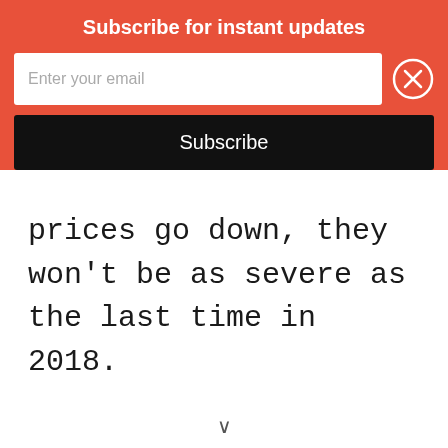Subscribe for instant updates
Enter your email
Subscribe
prices go down, they won't be as severe as the last time in 2018.